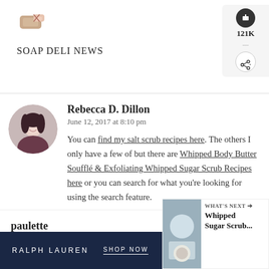Soap Deli News
[Figure (logo): Soap Deli News logo with soap bar icon and stylized text]
Rebecca D. Dillon
June 12, 2017 at 8:10 pm
You can find my salt scrub recipes here. The others I only have a few of but there are Whipped Body Butter Soufflé & Exfoliating Whipped Sugar Scrub Recipes here or you can search for what you're looking for using the search feature.
paulette
June 15, 2017 at 11:02 am
[Figure (screenshot): Ralph Lauren advertisement with SHOP NOW call to action on dark navy background]
[Figure (infographic): What's Next widget showing Whipped Sugar Scrub... with image]